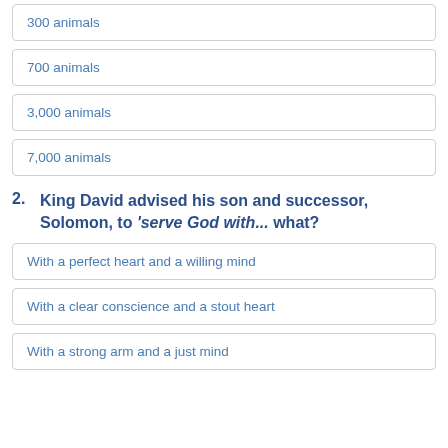300 animals
700 animals
3,000 animals
7,000 animals
2. King David advised his son and successor, Solomon, to 'serve God with... what?
With a perfect heart and a willing mind
With a clear conscience and a stout heart
With a strong arm and a just mind